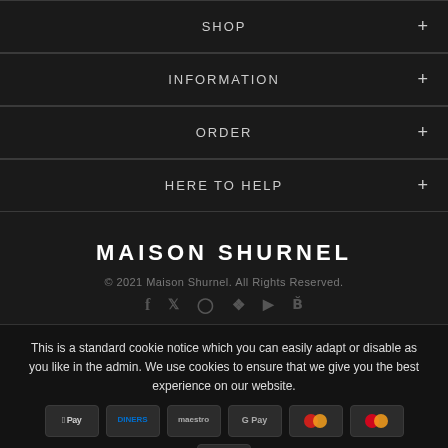SHOP +
INFORMATION +
ORDER +
HERE TO HELP +
MAISON SHURNEL
© 2021 Maison Shurnel. All Rights Reserved.
Social icons: f, twitter, instagram, pinterest, youtube, behance
This is a standard cookie notice which you can easily adapt or disable as you like in the admin. We use cookies to ensure that we give you the best experience on our website.
PRIVACY POLICY   ACCEPT ✓